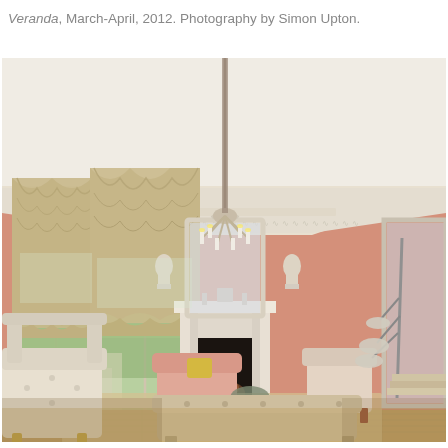Veranda, March-April, 2012. Photography by Simon Upton.
[Figure (photo): Interior photograph of an elegant living room with salmon/peach pink walls, ornate white plaster ceiling with moldings, a white marble fireplace with candle chandelier above, arched windows with gathered beige/gold Roman shades, antique French chairs, pink upholstered sofas, a tufted ottoman in the foreground, potted tree, white plaster bust sculptures on wall brackets, a large mirror above the fireplace, and a modern floor lamp on the right side.]